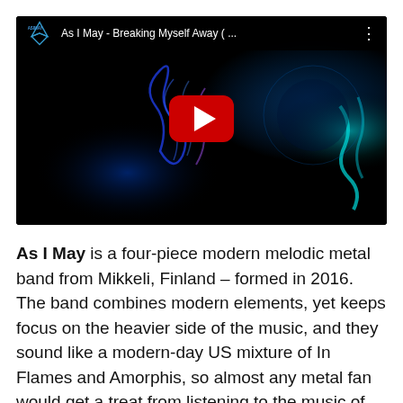[Figure (screenshot): YouTube video embed showing 'As I May - Breaking Myself Away (...' with a play button overlay on a dark blue/black background with glowing blue and teal smoke/liquid art visuals. The top bar shows the As I May logo, video title, and three-dot menu icon.]
As I May is a four-piece modern melodic metal band from Mikkeli, Finland – formed in 2016. The band combines modern elements, yet keeps focus on the heavier side of the music, and they sound like a modern-day US mixture of In Flames and Amorphis, so almost any metal fan would get a treat from listening to the music of these Finns! It's a